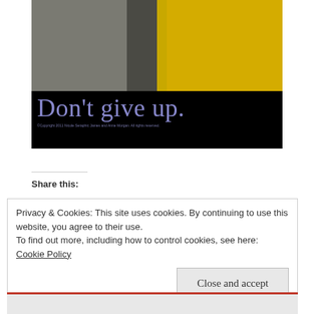[Figure (photo): Motivational poster with black background. Top portion shows a photo of gray stone texture on left and bright yellow textured surface on right. Large purple/lavender text reads 'Don't give up.' with small copyright text below.]
Share this:
Privacy & Cookies: This site uses cookies. By continuing to use this website, you agree to their use.
To find out more, including how to control cookies, see here: Cookie Policy
Close and accept